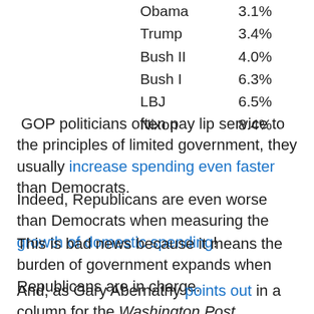| President | Rate |
| --- | --- |
| Obama | 3.1% |
| Trump | 3.4% |
| Bush II | 4.0% |
| Bush I | 6.3% |
| LBJ | 6.5% |
| Nixon | 8.4% |
GOP politicians often pay lip service to the principles of limited government, they usually increase spending even faster than Democrats.
Indeed, Republicans are even worse than Democrats when measuring the growth of domestic spending!
This is bad news because it means the burden of government expands when Republicans are in charge.
And, as Gary Abernathy points out in a column for the Washington Post, Republicans then don't have the